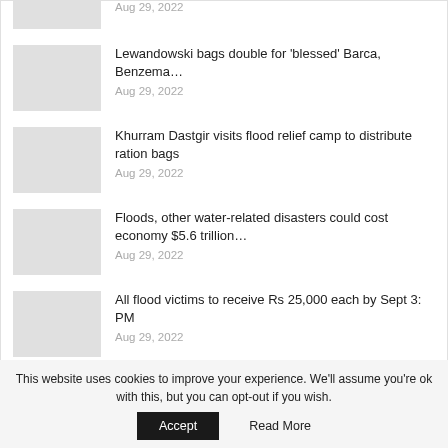[Figure (photo): Thumbnail placeholder (gray rectangle) for first article, top of page]
Aug 29, 2022
Lewandowski bags double for 'blessed' Barca, Benzema…
Aug 29, 2022
Khurram Dastgir visits flood relief camp to distribute ration bags
Aug 29, 2022
Floods, other water-related disasters could cost economy $5.6 trillion…
Aug 29, 2022
All flood victims to receive Rs 25,000 each by Sept 3: PM
Aug 29, 2022
This website uses cookies to improve your experience. We'll assume you're ok with this, but you can opt-out if you wish.
Accept
Read More